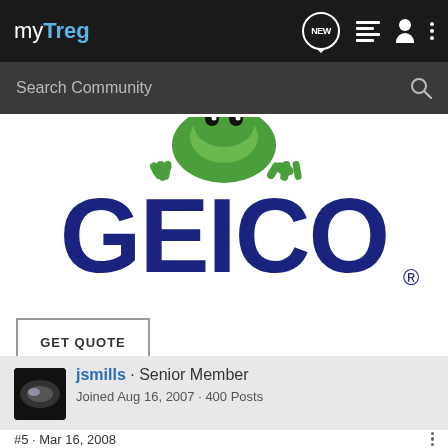myTreg
[Figure (logo): GEICO insurance logo with gecko mascot peeking over the top of the GEICO text on white background]
GET QUOTE
jsmills · Senior Member
Joined Aug 16, 2007 · 400 Posts
#5 · Mar 16, 2008
anything is worth a try, particuarily when you've bought a